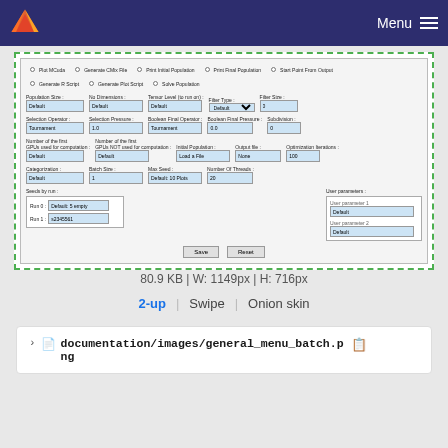Menu
[Figure (screenshot): Screenshot of a batch configuration dialog with form fields including Population Size, No Dimensions, Tensor Level, Filter Type, Filter Size, Selection Operator, Selection Pressure, Boolean Final Operator, Boolean Final Pressure, Subdivision, Number of the first GPUs used for computation fields, Initial Population, Output file, Optimization Iterations, Categorization, Batch Size, Max Seed fields, Seeds by run panel with Run 1 and Run 2 entries, Number of Threads, User parameters panel with User parameter 1 and User parameter 2, and Save/Reset buttons. Checkboxes for Plot MCuda, Generate R Script, Generate CMix File, Generate Plot Script, Print Initial Population, Solve Population, Print Final Population, Start Point From Output.]
80.9 KB | W: 1149px | H: 716px
2-up Swipe Onion skin
documentation/images/general_menu_batch.png